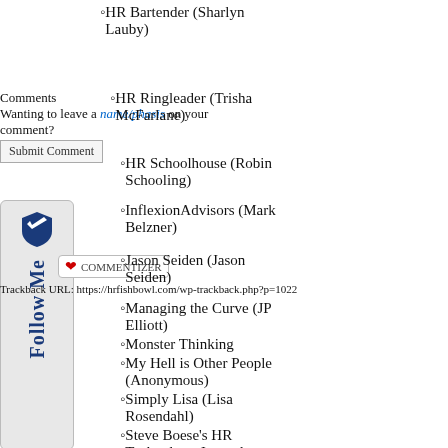HR Bartender (Sharlyn Lauby)
HR Ringleader (Trisha McFarlane)
Comments
Wanting to leave a name/emphasis on your comment?
HR Schoolhouse (Robin Schooling)
Submit Comment
InflexionAdvisors (Mark Belzner)
COMMENTIZER
Jason Seiden (Jason Seiden)
Trackback URL: https://hrfishbowl.com/wp-trackback.php?p=1022
Managing the Curve (JP Elliott)
Monster Thinking
My Hell is Other People (Anonymous)
Simply Lisa (Lisa Rosendahl)
Steve Boese's HR Technology Journal (Steve Boese)
The Cynical Girl (Laurie Ruettimann)
The Human Racehorses (Mike VanDervort
UpstartHR (Ben Eubanks)